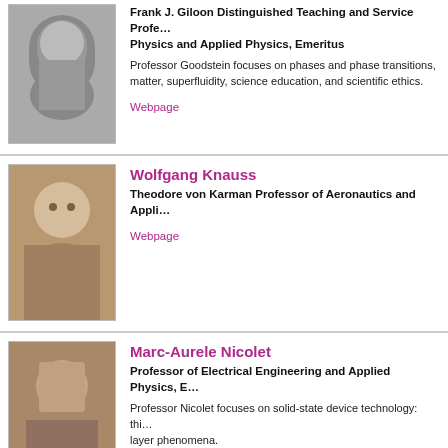Frank J. Giloon Distinguished Teaching and Service Professor of Physics and Applied Physics, Emeritus
Professor Goodstein focuses on phases and phase transitions, condensed matter, superfluidity, science education, and scientific ethics.
Webpage
Wolfgang Knauss
Theodore von Karman Professor of Aeronautics and Applied Mechanics
Webpage
Marc-Aurele Nicolet
Professor of Electrical Engineering and Applied Physics, Emeritus
Professor Nicolet focuses on solid-state device technology: thin films and surface layer phenomena.
Webpage